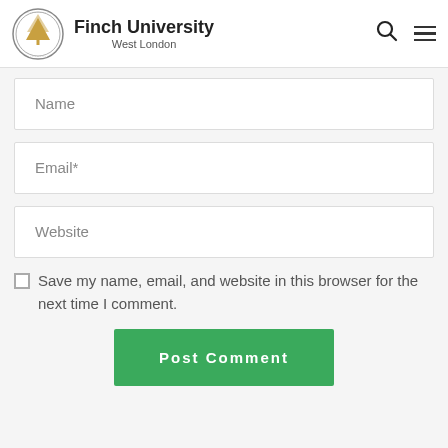Finch University West London
Name
Email*
Website
Save my name, email, and website in this browser for the next time I comment.
Post Comment